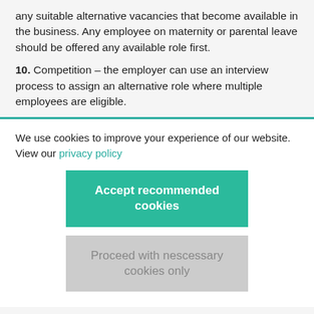any suitable alternative vacancies that become available in the business. Any employee on maternity or parental leave should be offered any available role first.
10. Competition – the employer can use an interview process to assign an alternative role where multiple employees are eligible.
We use cookies to improve your experience of our website. View our privacy policy
Accept recommended cookies
Proceed with nescessary cookies only